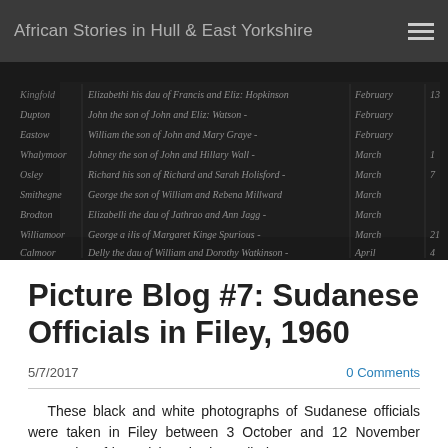African Stories in Hull & East Yorkshire
[Figure (photo): Black and white scan of a historical parish register or record book showing handwritten entries in old cursive script, with columns for names and dates including months like February, March, and April.]
Picture Blog #7: Sudanese Officials in Filey, 1960
5/7/2017
0 Comments
These black and white photographs of Sudanese officials were taken in Filey between 3 October and 12 November 1960. The African visitors had travelled to